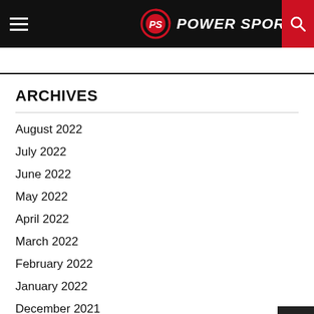PS POWER SPORTZ
ARCHIVES
August 2022
July 2022
June 2022
May 2022
April 2022
March 2022
February 2022
January 2022
December 2021
November 2021